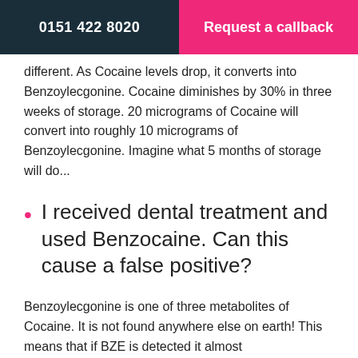0151 422 8020 | Request a callback
different. As Cocaine levels drop, it converts into Benzoylecgonine. Cocaine diminishes by 30% in three weeks of storage. 20 micrograms of Cocaine will convert into roughly 10 micrograms of Benzoylecgonine. Imagine what 5 months of storage will do...
I received dental treatment and used Benzocaine. Can this cause a false positive?
Benzoylecgonine is one of three metabolites of Cocaine. It is not found anywhere else on earth! This means that if BZE is detected it almost